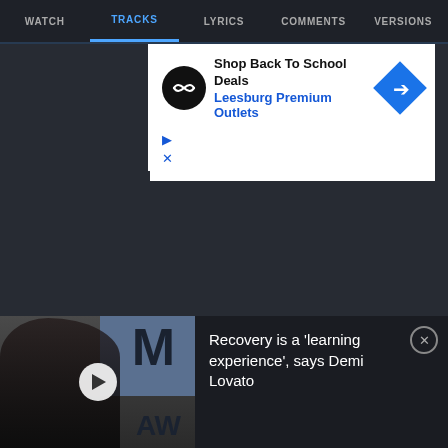WATCH | TRACKS | LYRICS | COMMENTS | VERSIONS
[Figure (screenshot): Advertisement for Shop Back To School Deals at Leesburg Premium Outlets]
08  Your House  3:40
09  Man No Sober  4:30
10  Dub Marcus Say  4:25
[Figure (photo): Video thumbnail showing a woman (Demi Lovato) at awards show with letter M and AW visible, with play button overlay]
Recovery is a 'learning experience', says Demi Lovato